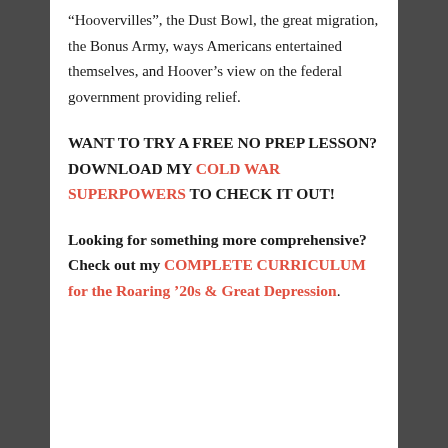“Hoovervilles”, the Dust Bowl, the great migration, the Bonus Army, ways Americans entertained themselves, and Hoover’s view on the federal government providing relief.
WANT TO TRY A FREE NO PREP LESSON? DOWNLOAD MY COLD WAR SUPERPOWERS TO CHECK IT OUT!
Looking for something more comprehensive? Check out my COMPLETE CURRICULUM for the Roaring ’20s & Great Depression.